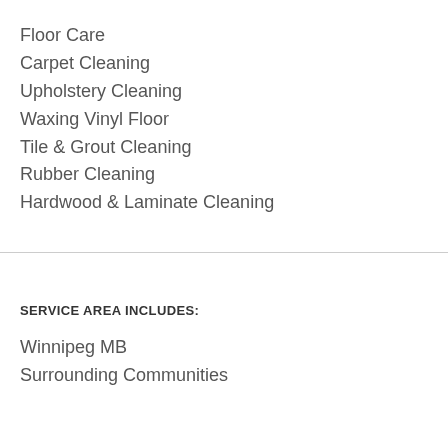Floor Care
Carpet Cleaning
Upholstery Cleaning
Waxing Vinyl Floor
Tile & Grout Cleaning
Rubber Cleaning
Hardwood & Laminate Cleaning
SERVICE AREA INCLUDES:
Winnipeg MB
Surrounding Communities